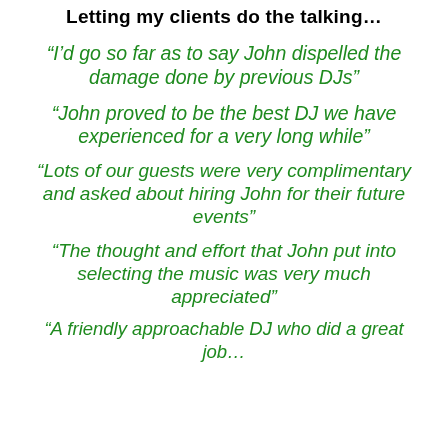Letting my clients do the talking…
“I’d go so far as to say John dispelled the damage done by previous DJs”
“John proved to be the best DJ we have experienced for a very long while”
“Lots of our guests were very complimentary and asked about hiring John for their future events”
“The thought and effort that John put into selecting the music was very much appreciated”
“A friendly approachable DJ who did a great job…